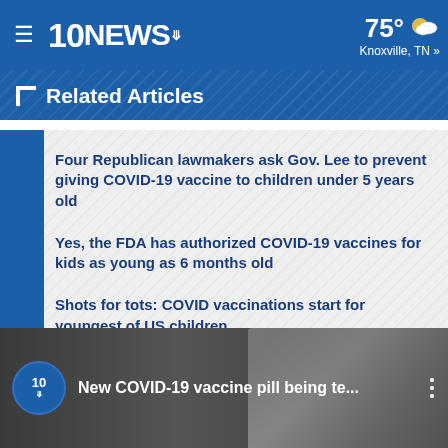10NEWS | 75° Knoxville, TN »
Related Articles
Four Republican lawmakers ask Gov. Lee to prevent giving COVID-19 vaccine to children under 5 years old
Yes, the FDA has authorized COVID-19 vaccines for kids as young as 6 months old
Shots for tots: COVID vaccinations start for youngest of US children
[Figure (screenshot): Video thumbnail with 10News logo circle and title: New COVID-19 vaccine pill being te...]